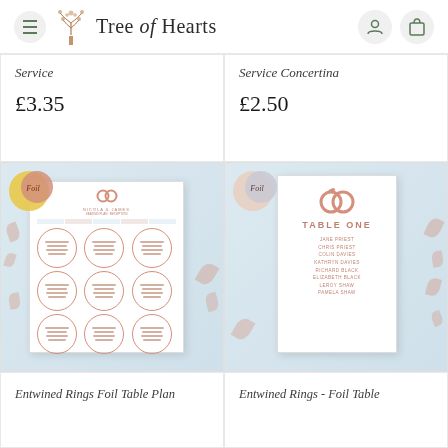Tree of Hearts
Service
£3.35
Service Concertina
£2.50
[Figure (photo): Entwined Rings Foil Table Plan product image showing a seating plan with circular table layouts, foil badge overlay, decorative pink petals]
[Figure (photo): Entwined Rings Foil Table card product image showing TABLE ONE with guest names listed, foil badge overlay, decorative pink petals]
Entwined Rings Foil Table Plan
Entwined Rings - Foil Table